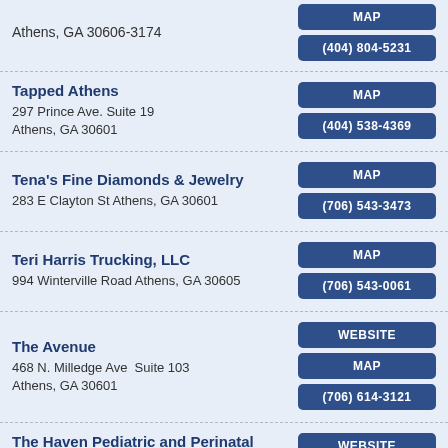Athens, GA 30606-3174 | MAP | (404) 804-5231
Tapped Athens | 297 Prince Ave. Suite 19 | Athens, GA 30601 | MAP | (404) 538-4369
Tena's Fine Diamonds & Jewelry | 283 E Clayton St Athens, GA 30601 | MAP | (706) 543-3473
Teri Harris Trucking, LLC | 994 Winterville Road Athens, GA 30605 | MAP | (706) 543-0061
The Avenue | 468 N. Milledge Ave  Suite 103 | Athens, GA 30601 | WEBSITE | MAP | (706) 614-3121
The Haven Pediatric and Perinatal Chiropractic | WEBSITE